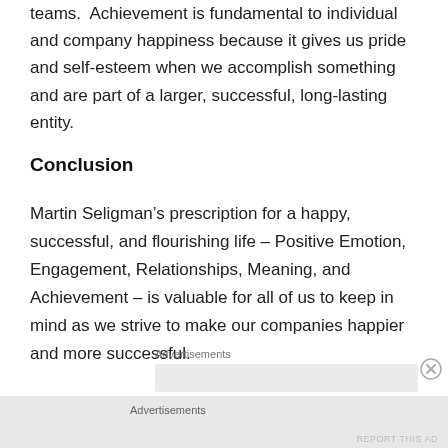teams.  Achievement is fundamental to individual and company happiness because it gives us pride and self-esteem when we accomplish something and are part of a larger, successful, long-lasting entity.
Conclusion
Martin Seligman’s prescription for a happy, successful, and flourishing life – Positive Emotion, Engagement, Relationships, Meaning, and Achievement – is valuable for all of us to keep in mind as we strive to make our companies happier and more successful.
Advertisements
Advertisements